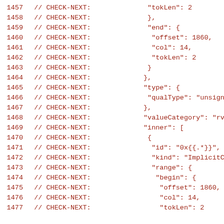1457 // CHECK-NEXT:              "tokLen": 2
1458 // CHECK-NEXT:              },
1459 // CHECK-NEXT:              "end": {
1460 // CHECK-NEXT:               "offset": 1860,
1461 // CHECK-NEXT:               "col": 14,
1462 // CHECK-NEXT:               "tokLen": 2
1463 // CHECK-NEXT:              }
1464 // CHECK-NEXT:             },
1465 // CHECK-NEXT:             "type": {
1466 // CHECK-NEXT:              "qualType": "unsigned
1467 // CHECK-NEXT:             },
1468 // CHECK-NEXT:             "valueCategory": "rvalu
1469 // CHECK-NEXT:             "inner": [
1470 // CHECK-NEXT:              {
1471 // CHECK-NEXT:               "id": "0x{{.*}}",
1472 // CHECK-NEXT:               "kind": "ImplicitCast
1473 // CHECK-NEXT:               "range": {
1474 // CHECK-NEXT:                "begin": {
1475 // CHECK-NEXT:                 "offset": 1860,
1476 // CHECK-NEXT:                 "col": 14,
1477 // CHECK-NEXT:                 "tokLen": 2